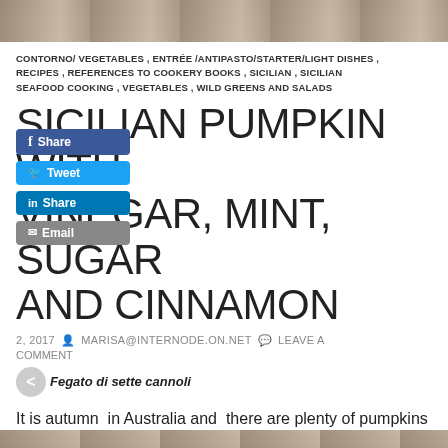[Figure (photo): Partial photo of a building facade at the top of the page]
CONTORNO/ VEGETABLES , ENTRÉE /ANTIPASTO/STARTER/LIGHT DISHES , RECIPES , REFERENCES TO COOKERY BOOKS , SICILIAN , SICILIAN SEAFOOD COOKING , VEGETABLES , WILD GREENS AND SALADS
SICILIAN PUMPKIN WITH VINEGAR, MINT, SUGAR AND CINNAMON
[Figure (screenshot): Social share buttons: Facebook Share, Twitter Tweet, LinkedIn Share, Email]
2, 2017  MARISA@INTERNODE.ON.NET  LEAVE A COMMENT
Fegato di sette cannoli
It is autumn in Australia and there are plenty of pumpkins around. I like cooking pumpkin this way because it has unusual flavours and it can be made well in advance. I have presented it both as an antipasto and as an accompaniment to main dishes.
[Figure (photo): Partial photo at the bottom of the page]